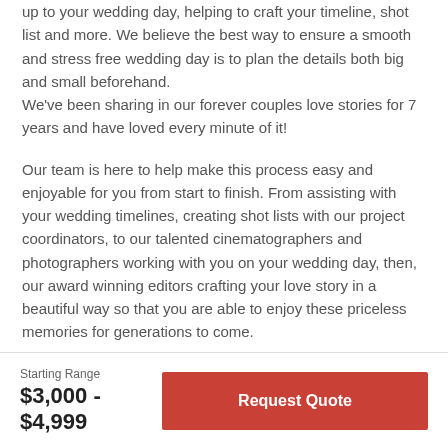up to your wedding day, helping to craft your timeline, shot list and more. We believe the best way to ensure a smooth and stress free wedding day is to plan the details both big and small beforehand.
We've been sharing in our forever couples love stories for 7 years and have loved every minute of it!
Our team is here to help make this process easy and enjoyable for you from start to finish. From assisting with your wedding timelines, creating shot lists with our project coordinators, to our talented cinematographers and photographers working with you on your wedding day, then, our award winning editors crafting your love story in a beautiful way so that you are able to enjoy these priceless memories for generations to come.
Starting Range
$3,000 - $4,999
Request Quote